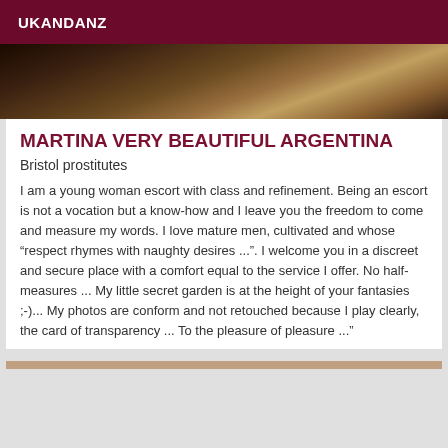UKANDANZ
[Figure (photo): Partial photo of a woman, cropped at the head/neck area, dark background]
MARTINA VERY BEAUTIFUL ARGENTINA
Bristol prostitutes
I am a young woman escort with class and refinement. Being an escort is not a vocation but a know-how and I leave you the freedom to come and measure my words. I love mature men, cultivated and whose "respect rhymes with naughty desires ...". I welcome you in a discreet and secure place with a comfort equal to the service I offer. No half-measures ... My little secret garden is at the height of your fantasies ;-)... My photos are conform and not retouched because I play clearly, the card of transparency ... To the pleasure of pleasure ..."